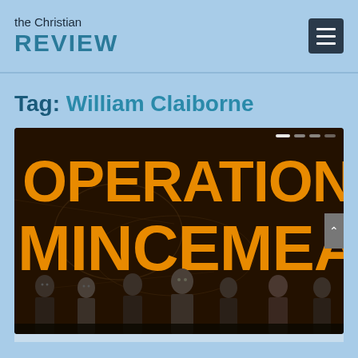the Christian REVIEW
Tag: William Claiborne
[Figure (photo): Movie poster for 'Operation Mincemeat' showing the title in large orange block letters over a dark background, with a group of period-dressed actors posed below in black and white.]